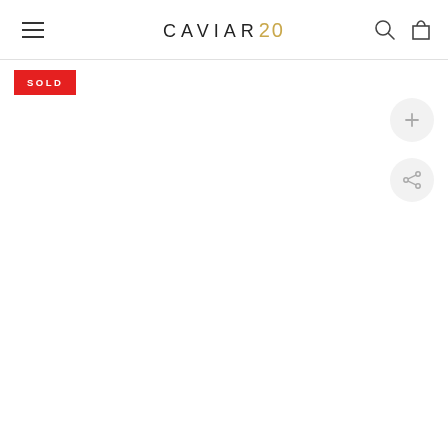CAVIAR20 — navigation header with hamburger menu, search, and cart icons
[Figure (screenshot): SOLD badge in red with white text]
[Figure (other): Circular button with plus (+) icon]
[Figure (other): Circular button with share icon]